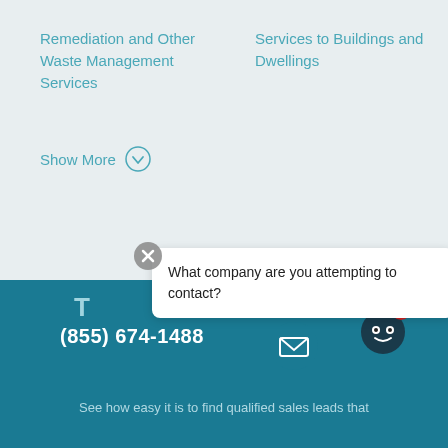Remediation and Other Waste Management Services
Services to Buildings and Dwellings
Show More
[Figure (screenshot): Chat popup with close button (X) showing the message: What company are you attempting to contact?]
T  vers f  Fre
(855) 674-1488
[Figure (illustration): Email envelope icon in a teal circle]
[Figure (illustration): Robot chatbot avatar icon with a red badge showing number 2]
See how easy it is to find qualified sales leads that